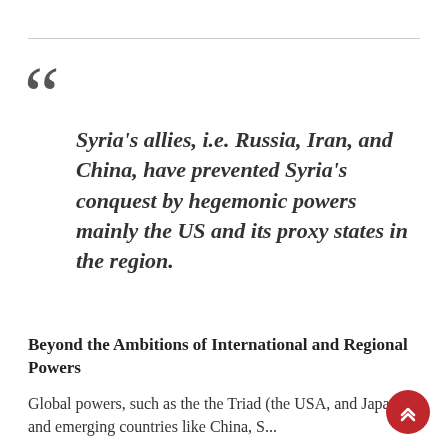Syria's allies, i.e. Russia, Iran, and China, have prevented Syria's conquest by hegemonic powers mainly the US and its proxy states in the region.
Beyond the Ambitions of International and Regional Powers
Global powers, such as the the Triad (the USA, and Japan) and emerging countries like China, S...